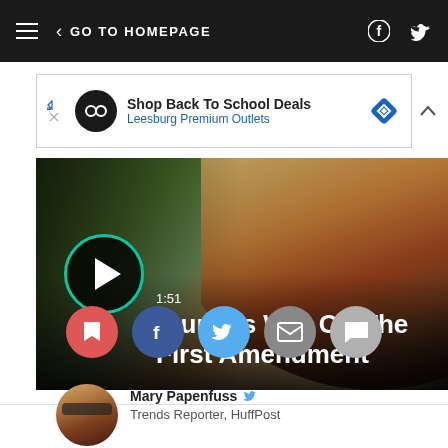GO TO HOMEPAGE
[Figure (other): Advertisement banner: Shop Back To School Deals - Leesburg Premium Outlets]
[Figure (other): Video thumbnail: Trump's War On The First Amendment, duration 1:51, with play button overlay]
[Figure (other): Social share buttons row: bookmark (red), Facebook (dark blue), Twitter (blue), email (gray), comment (light gray)]
[Figure (photo): Author headshot of Mary Papenfuss]
Mary Papenfuss  Trends Reporter, HuffPost